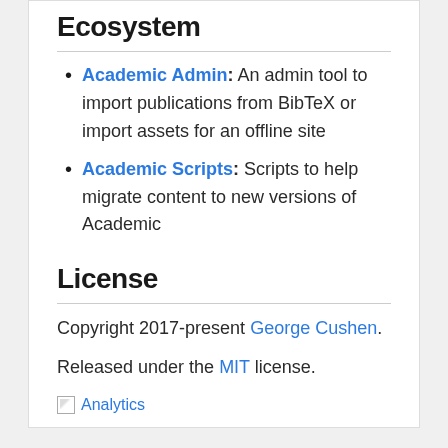Ecosystem
Academic Admin: An admin tool to import publications from BibTeX or import assets for an offline site
Academic Scripts: Scripts to help migrate content to new versions of Academic
License
Copyright 2017-present George Cushen.
Released under the MIT license.
[Figure (other): Broken image link labeled Analytics]